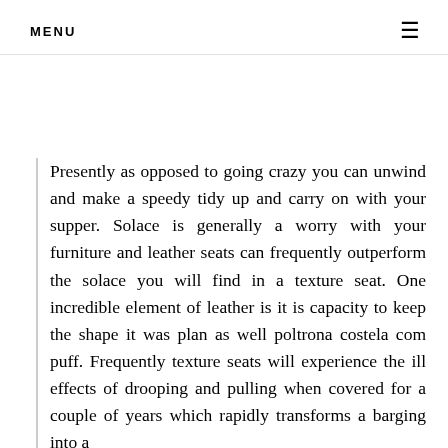MENU
Presently as opposed to going crazy you can unwind and make a speedy tidy up and carry on with your supper. Solace is generally a worry with your furniture and leather seats can frequently outperform the solace you will find in a texture seat. One incredible element of leather is it is capacity to keep the shape it was plan as well poltrona costela com puff. Frequently texture seats will experience the ill effects of drooping and pulling when covered for a couple of years which rapidly transforms a barging into a